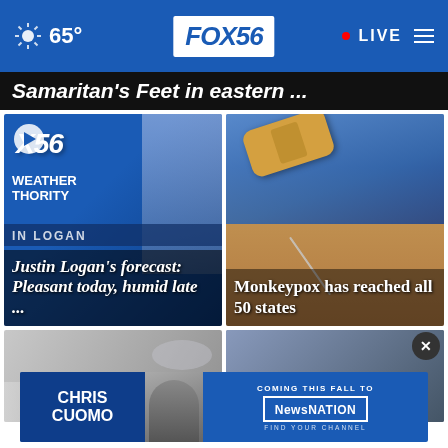65° FOX 56 • LIVE
Samaritan's Feet in eastern ...
[Figure (screenshot): FOX 56 Weather Authority video thumbnail with play button and Justin Logan headshot]
Justin Logan's forecast: Pleasant today, humid late ...
[Figure (photo): Close-up of gloved hand administering vaccine with bandage visible]
Monkeypox has reached all 50 states
[Figure (photo): Bottom left news card image - vehicle]
[Figure (photo): Bottom right news card image]
[Figure (other): Chris Cuomo advertisement banner - Coming this fall to NewsNation]